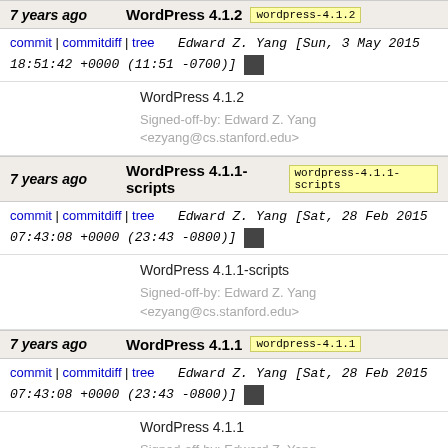7 years ago   WordPress 4.1.2   wordpress-4.1.2
commit | commitdiff | tree   Edward Z. Yang [Sun, 3 May 2015 18:51:42 +0000 (11:51 -0700)]
WordPress 4.1.2

Signed-off-by: Edward Z. Yang <ezyang@cs.stanford.edu>
7 years ago   WordPress 4.1.1-scripts   wordpress-4.1.1-scripts
commit | commitdiff | tree   Edward Z. Yang [Sat, 28 Feb 2015 07:43:08 +0000 (23:43 -0800)]
WordPress 4.1.1-scripts

Signed-off-by: Edward Z. Yang <ezyang@cs.stanford.edu>
7 years ago   WordPress 4.1.1   wordpress-4.1.1
commit | commitdiff | tree   Edward Z. Yang [Sat, 28 Feb 2015 07:43:08 +0000 (23:43 -0800)]
WordPress 4.1.1

Signed-off-by: Edward Z. Yang <ezyang@cs.stanford.edu>
7 years ago   WordPress 4.1-scripts   wordpress-4.1-scripts